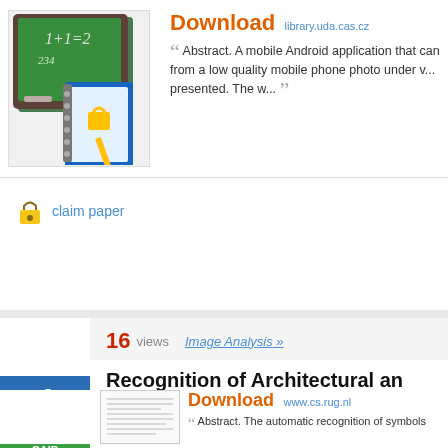[Figure (illustration): Chalkboard with math equation 1+1=2 and a notebook with lock icon]
Download library.uda.cas.cz
Abstract. A mobile Android application that can... from a low quality mobile phone photo under v... presented. The w...
claim paper
16 views  Image Analysis »
Recognition of Architectural and Symbols by COSFIRE Filters w
[Figure (screenshot): Paper thumbnail preview]
Download www.cs.rug.nl
Abstract. The automatic recognition of symbols